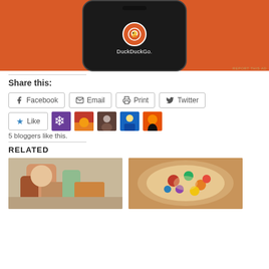[Figure (photo): DuckDuckGo app advertisement showing phone mockup on orange background]
REPORT THIS AD
Share this:
Facebook  Email  Print  Twitter
[Figure (photo): Like button and 5 blogger avatars]
5 bloggers like this.
RELATED
[Figure (photo): Two related article thumbnail images: knitted toys and colorful pasta salad]